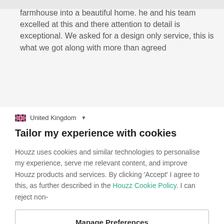farmhouse into a beautiful home. he and his team excelled at this and there attention to detail is exceptional. We asked for a design only service, this is what we got along with more than agreed
United Kingdom
Tailor my experience with cookies
Houzz uses cookies and similar technologies to personalise my experience, serve me relevant content, and improve Houzz products and services. By clicking 'Accept' I agree to this, as further described in the Houzz Cookie Policy. I can reject non-
Manage Preferences
Accept